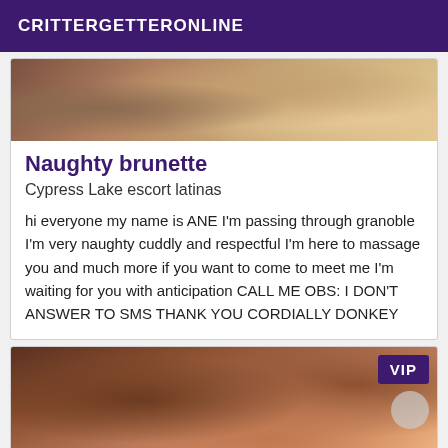CRITTERGETTERONLINE
[Figure (photo): Partial cropped photo of a person, warm tones]
Naughty brunette
Cypress Lake escort latinas
hi everyone my name is ANE I'm passing through granoble I'm very naughty cuddly and respectful I'm here to massage you and much more if you want to come to meet me I'm waiting for you with anticipation CALL ME OBS: I DON'T ANSWER TO SMS THANK YOU CORDIALLY DONKEY
[Figure (photo): Photo of a brunette woman in a red top, looking up, with wooden furniture in background. VIP badge in top right corner.]